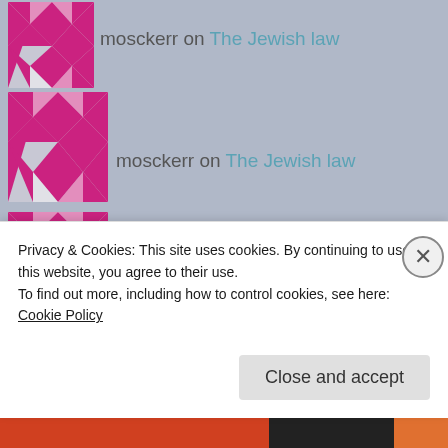[Figure (illustration): Pink and white geometric diamond pattern avatar for user mosckerr]
mosckerr on The Jewish law
[Figure (illustration): Pink and white geometric diamond pattern avatar for user mosckerr]
mosckerr on The Jewish law
[Figure (illustration): Pink and white geometric diamond pattern avatar for user mosckerr]
mosckerr on The Jewish law
Archives
August 2022
Privacy & Cookies: This site uses cookies. By continuing to use this website, you agree to their use.
To find out more, including how to control cookies, see here: Cookie Policy
Close and accept